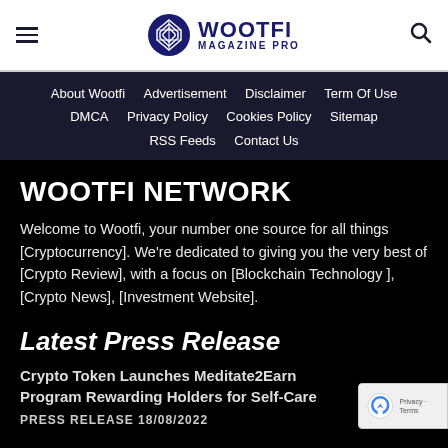WOOTFI MAGAZINE PRO
About Wootfi  Advertisement  Disclaimer  Term Of Use  DMCA  Privacy Policy  Cookies Policy  Sitemap  RSS Feeds  Contact Us
WOOTFI NETWORK
Welcome to Wootfi, your number one source for all things [Cryptocurrency]. We're dedicated to giving you the very best of [Crypto Review], with a focus on [Blockchain Technology ], [Crypto News], [Investment Website].
Latest Press Release
Crypto Token Launches Meditate2Earn Program Rewarding Holders for Self-Care
PRESS RELEASE 18/08/2022